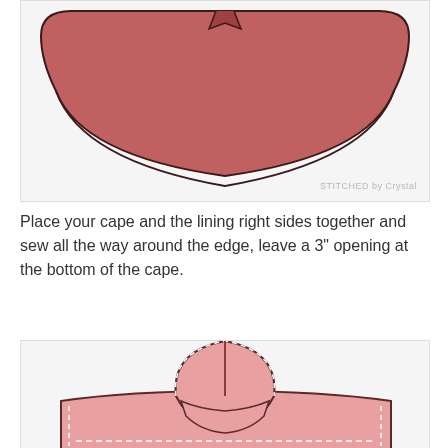[Figure (illustration): Sewing pattern illustration showing a dark rose/terracotta colored cape fabric piece viewed from above, shaped like a circular sector with a small notch cut at the top center. Watermark reads 'STITCHED by Crystal'.]
Place your cape and the lining right sides together and sew all the way around the edge, leave a 3" opening at the bottom of the cape.
[Figure (illustration): Sewing pattern illustration showing a pink cape with a hood viewed from the front. The hood is shaped like a pointed oval/leaf at top with a visible center seam. The cape body extends to the sides and bottom, showing dashed stitch lines around edges. The fabric is light pink/rose colored with a darker pink outline.]